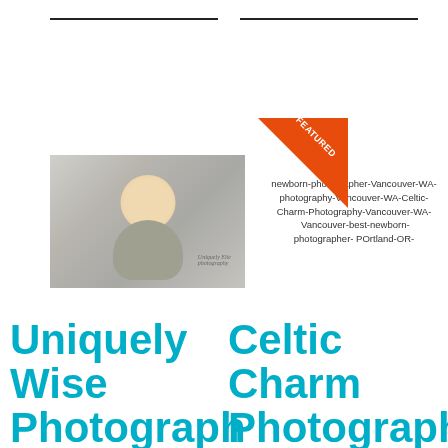[Figure (photo): Baby/infant photo with watermark reading 'Uniquely Elie photography']
newborn-photographer-Vancouver-WA-photography-Vancouver-WA-Celtic-Charm-Photography-Vancouver-WA-Vancouver-best-newborn-photographer- POrtland-OR-
Uniquely Wise Photography
Celtic Charm Photography